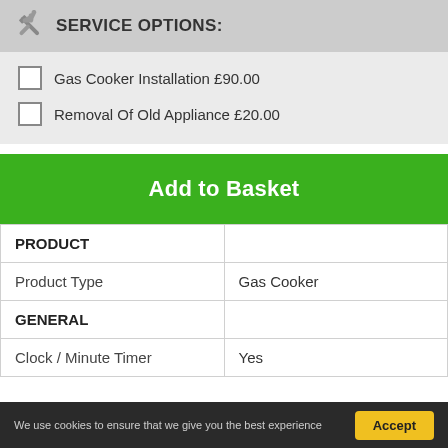SERVICE OPTIONS:
Gas Cooker Installation £90.00
Removal Of Old Appliance £20.00
Add to Basket
| PRODUCT |  |
| --- | --- |
| Product Type | Gas Cooker |
| GENERAL |  |
| Clock / Minute Timer | Yes |
We use cookies to ensure that we give you the best experience